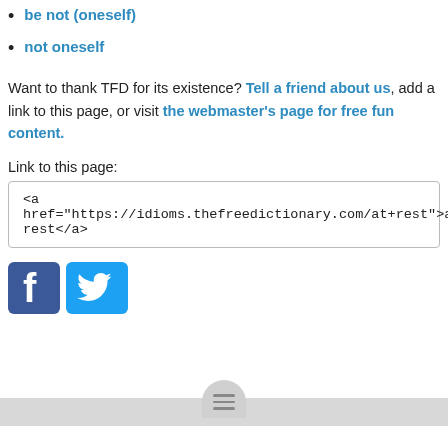be not (oneself)
not oneself
Want to thank TFD for its existence? Tell a friend about us, add a link to this page, or visit the webmaster's page for free fun content.
Link to this page:
<a href="https://idioms.thefreedictionary.com/at+rest">at rest</a>
[Figure (logo): Facebook and Twitter social media icons]